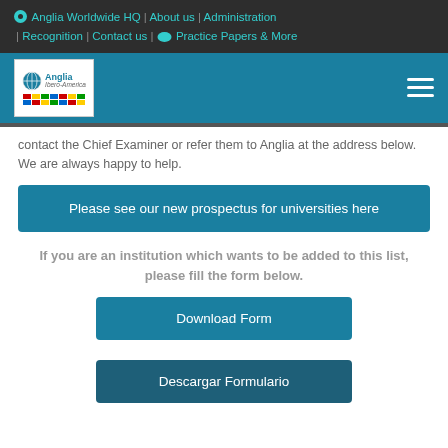⦿ Anglia Worldwide HQ | About us | Administration | Recognition | Contact us | ☁ Practice Papers & More
[Figure (logo): Anglia Ibero-America logo with flags grid on blue navigation bar with hamburger menu]
contact the Chief Examiner or refer them to Anglia at the address below. We are always happy to help.
Please see our new prospectus for universities here
If you are an institution which wants to be added to this list, please fill the form below.
Download Form
Descargar Formulario